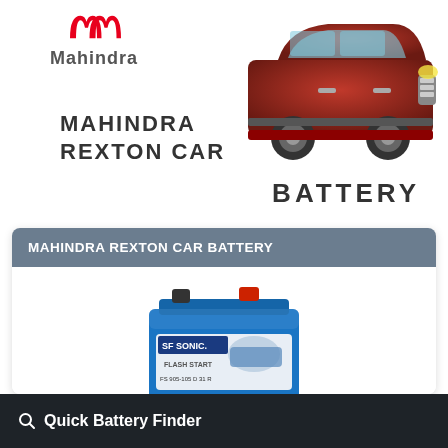[Figure (logo): Mahindra twin peaks logo in red with 'Mahindra' text below in gray]
MAHINDRA
REXTON CAR
[Figure (photo): Red Mahindra Rexton SUV car facing right]
BATTERY
MAHINDRA REXTON CAR BATTERY
[Figure (photo): SF Sonic blue car battery with label showing Flash Start branding]
SF SONIC SPARK   SP-105D31R
Capacity:    85AH
Quick Battery Finder